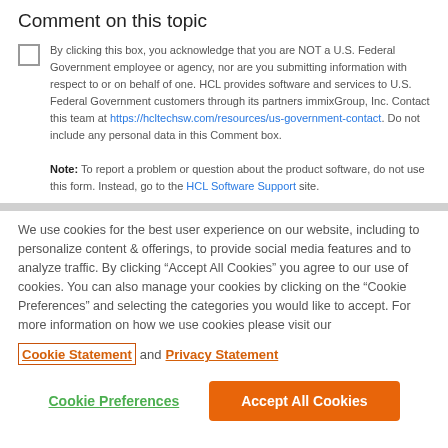Comment on this topic
By clicking this box, you acknowledge that you are NOT a U.S. Federal Government employee or agency, nor are you submitting information with respect to or on behalf of one. HCL provides software and services to U.S. Federal Government customers through its partners immixGroup, Inc. Contact this team at https://hcltechsw.com/resources/us-government-contact. Do not include any personal data in this Comment box. Note: To report a problem or question about the product software, do not use this form. Instead, go to the HCL Software Support site.
We use cookies for the best user experience on our website, including to personalize content & offerings, to provide social media features and to analyze traffic. By clicking “Accept All Cookies” you agree to our use of cookies. You can also manage your cookies by clicking on the “Cookie Preferences” and selecting the categories you would like to accept. For more information on how we use cookies please visit our Cookie Statement and Privacy Statement
Cookie Preferences  Accept All Cookies